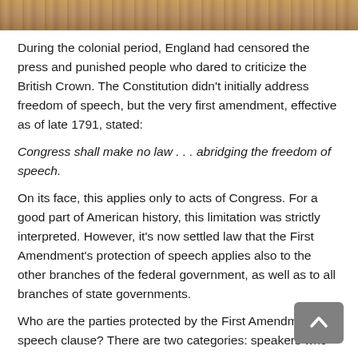[Figure (photo): Partial view of a historical handwritten document, appearing to be the U.S. Constitution or similar parchment, shown at the top of the page as a cropped strip.]
During the colonial period, England had censored the press and punished people who dared to criticize the British Crown. The Constitution didn't initially address freedom of speech, but the very first amendment, effective as of late 1791, stated:
On its face, this applies only to acts of Congress. For a good part of American history, this limitation was strictly interpreted. However, it's now settled law that the First Amendment's protection of speech applies also to the other branches of the federal government, as well as to all branches of state governments.
Who are the parties protected by the First Amendment's speech clause? There are two categories: speakers who can...